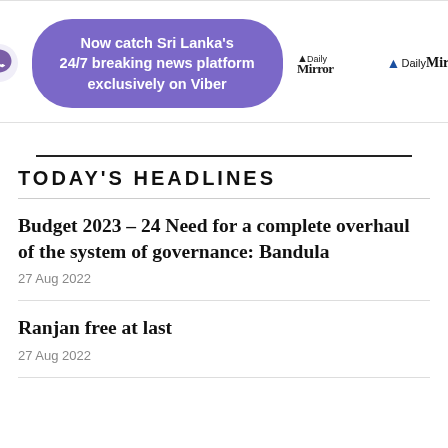[Figure (infographic): Viber promotional banner with purple pill shape: 'Now catch Sri Lanka's 24/7 breaking news platform exclusively on Viber', Viber logo icon on left, Daily Mirror logo on right]
TODAY'S HEADLINES
Budget 2023 – 24 Need for a complete overhaul of the system of governance: Bandula
27 Aug 2022
Ranjan free at last
27 Aug 2022